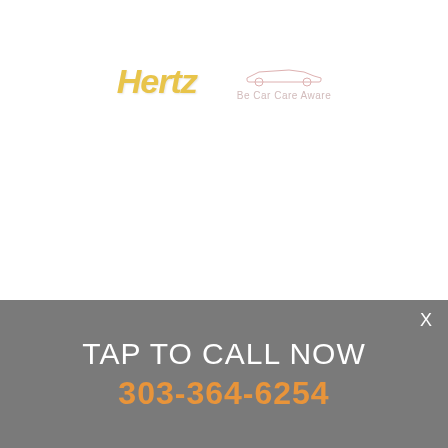[Figure (logo): Hertz logo in yellow-gold italic bold text, alongside a Be Car Care Aware logo with car silhouette icon and red/pink text]
X
TAP TO CALL NOW
303-364-6254